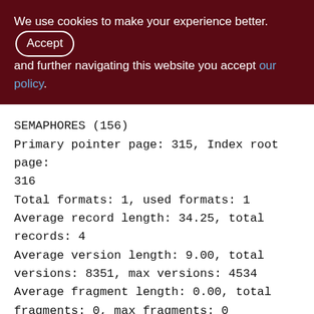We use cookies to make your experience better. By accepting and further navigating this website you accept our policy.
SEMAPHORES (156)
Primary pointer page: 315, Index root page: 316
Total formats: 1, used formats: 1
Average record length: 34.25, total records: 4
Average version length: 9.00, total versions: 8351, max versions: 4534
Average fragment length: 0.00, total fragments: 0, max fragments: 0
Average unpacked length: 338.00, compression ratio: 9.87